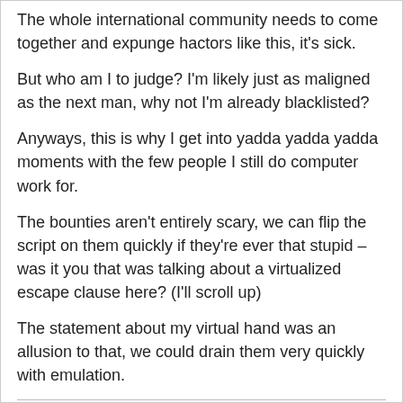The whole international community needs to come together and expunge hactors like this, it's sick.
But who am I to judge? I'm likely just as maligned as the next man, why not I'm already blacklisted?
Anyways, this is why I get into yadda yadda yadda moments with the few people I still do computer work for.
The bounties aren't entirely scary, we can flip the script on them quickly if they're ever that stupid – was it you that was talking about a virtualized escape clause here? (I'll scroll up)
The statement about my virtual hand was an allusion to that, we could drain them very quickly with emulation.
r • December 18, 2016 2:00 PM
But, they're already working on models immune to that type of attack – there's authors out there providing cuts on the action.
If I caught somebody distributing ransomware? I'd prolly end up with an assault charge.